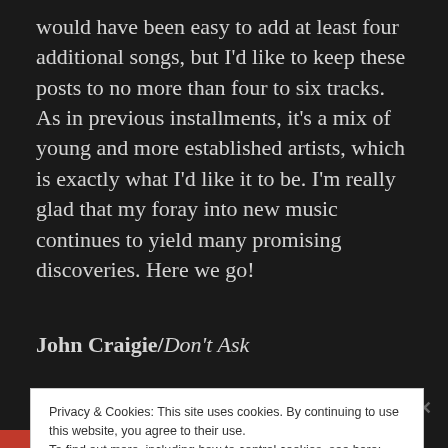would have been easy to add at least four additional songs, but I'd like to keep these posts to no more than four to six tracks. As in previous installments, it's a mix of young and more established artists, which is exactly what I'd like it to be. I'm really glad that my foray into new music continues to yield many promising discoveries. Here we go!
John Craigie/Don't Ask
Privacy & Cookies: This site uses cookies. By continuing to use this website, you agree to their use.
To find out more, including how to control cookies, see here:
Cookie Policy